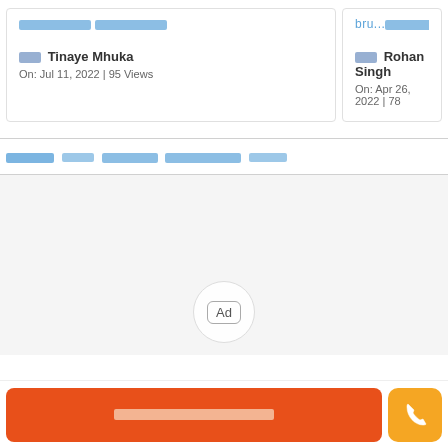[Hindi text] (card title left)
□□□ Tinaye Mhuka
On: Jul 11, 2022 | 95 Views
bru...□□□□□□□ □□□□□□
□□□ Rohan Singh
On: Apr 26, 2022 | 78
[Hindi section link] □□□□□□ □□ □□□□□□ □□□□□□□□□□□ □□□□□
[Figure (other): Advertisement area with Ad badge in circle]
[Hindi button text] □□□□ □□□□□□□□□□□□ □□□□□□